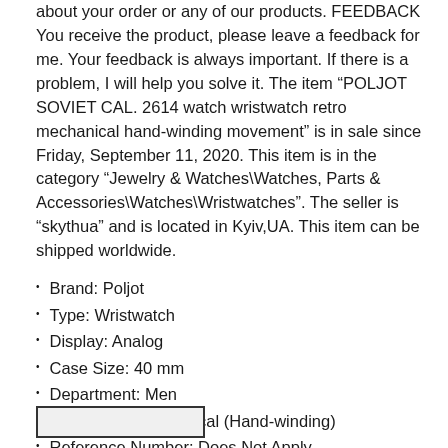about your order or any of our products. FEEDBACK You receive the product, please leave a feedback for me. Your feedback is always important. If there is a problem, I will help you solve it. The item "POLJOT SOVIET CAL. 2614 watch wristwatch retro mechanical hand-winding movement" is in sale since Friday, September 11, 2020. This item is in the category "Jewelry & Watches\Watches, Parts & Accessories\Watches\Wristwatches". The seller is "skythua" and is located in Kyiv,UA. This item can be shipped worldwide.
Brand: Poljot
Type: Wristwatch
Display: Analog
Case Size: 40 mm
Department: Men
Movement: Mechanical (Hand-winding)
Reference Number: Does Not Apply